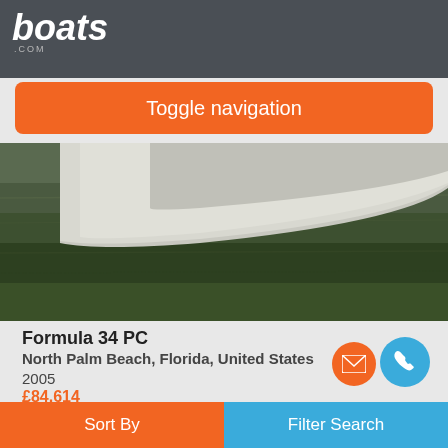boats.com
Toggle navigation
[Figure (photo): Aerial/side view of a boat hull over water, showing the white hull of a Formula 34 PC boat on green-tinted water]
Formula 34 PC
North Palm Beach, Florida, United States
2005
£84,614
Seller Atlantic Yacht & Ship, Inc.
In-Stock
54
Sort By
Filter Search